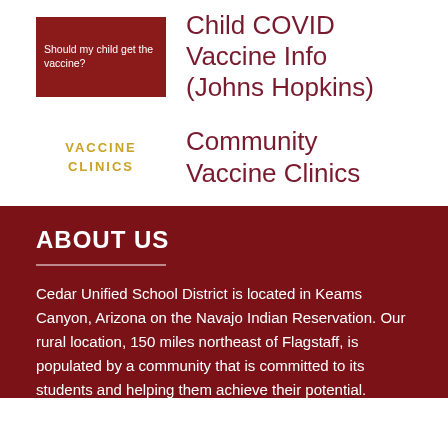[Figure (illustration): Dark red thumbnail image with white text reading 'Should my child get the vaccine?']
Child COVID Vaccine Info (Johns Hopkins)
[Figure (illustration): Text graphic with golden/yellow text reading 'VACCINE CLINICS' in bold uppercase letters]
Community Vaccine Clinics
ABOUT US
Cedar Unified School District is located in Keams Canyon, Arizona on the Navajo Indian Reservation. Our rural location, 150 miles northeast of Flagstaff, is populated by a community that is committed to its students and helping them achieve their potential.